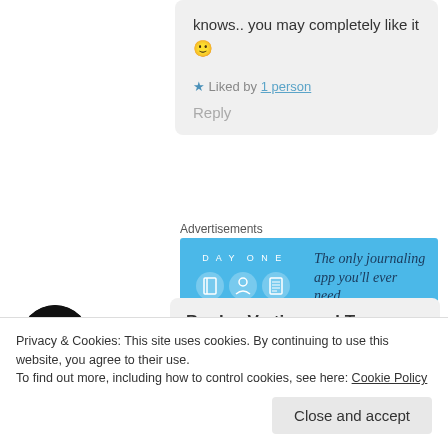knows.. you may completely like it 🙂
★ Liked by 1 person
Reply
Advertisements
[Figure (illustration): Day One journaling app advertisement banner with blue background, icons, and text: The only journaling app you'll ever need.]
[Figure (photo): User avatar: dark circular profile photo of a person with mouth open against black background]
Books, Vertigo and Tea
June 18, 2017 at 2:24 am
Privacy & Cookies: This site uses cookies. By continuing to use this website, you agree to their use.
To find out more, including how to control cookies, see here: Cookie Policy
Close and accept
feel I may have well just read a